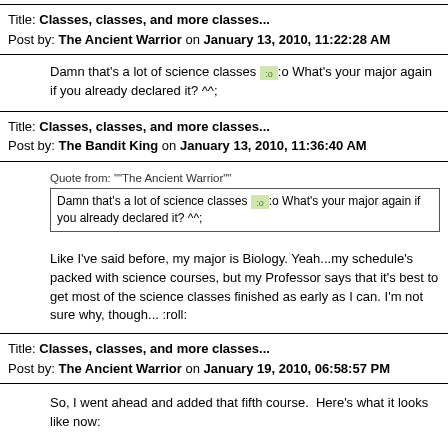Title: Classes, classes, and more classes...
Post by: The Ancient Warrior on January 13, 2010, 11:22:28 AM
Damn that's a lot of science classes [emoji] What's your major again if you already declared it? ^^;
Title: Classes, classes, and more classes...
Post by: The Bandit King on January 13, 2010, 11:36:40 AM
Quote from: ""The Ancient Warrior""
Damn that's a lot of science classes [emoji] What's your major again if you already declared it? ^^;
Like I've said before, my major is Biology. Yeah...my schedule's packed with science courses, but my Professor says that it's best to get most of the science classes finished as early as I can. I'm not sure why, though... :roll:
Title: Classes, classes, and more classes...
Post by: The Ancient Warrior on January 19, 2010, 06:58:57 PM
So, I went ahead and added that fifth course.  Here's what it looks like now: